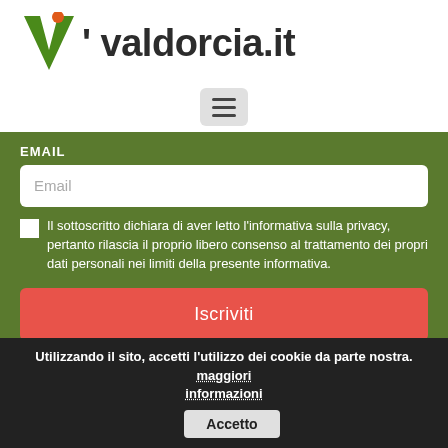[Figure (logo): Valdorcia.it logo with green V and orange apostrophe, bold dark text 'valdorcia.it']
[Figure (other): Hamburger menu button icon with three horizontal lines on light grey background]
EMAIL
Email
Il sottoscritto dichiara di aver letto l'informativa sulla privacy, pertanto rilascia il proprio libero consenso al trattamento dei propri dati personali nei limiti della presente informativa.
Iscriviti
© 2021 All rights reserved valdorcia.it | Privacy - Cookie Policy - Mappa del sito
Utilizzando il sito, accetti l'utilizzo dei cookie da parte nostra. maggiori informazioni  Accetto